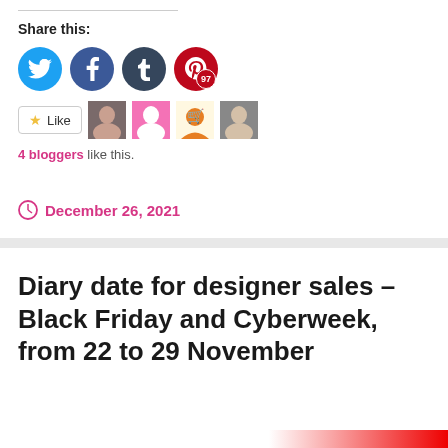Share this:
[Figure (infographic): Social share buttons: Twitter (blue circle), Facebook (blue circle), Tumblr (dark circle), Pinterest (red circle with 97 badge)]
[Figure (infographic): Like button with star icon, followed by four blogger avatar thumbnails]
4 bloggers like this.
December 26, 2021
Diary date for designer sales – Black Friday and Cyberweek, from 22 to 29 November